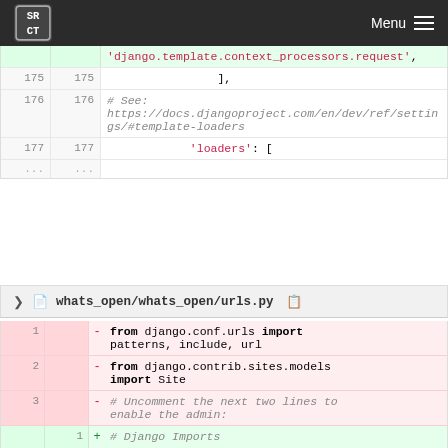SRCT Menu
| old | new | code |
| --- | --- | --- |
|  |  | 'django.template.context_processors.request', |
| 175 | 175 | ], |
| 176 | 176 | # See: https://docs.djangoproject.com/en/dev/ref/settings/#template-loaders |
| 177 | 177 | 'loaders': [ |
| ... | ... |  |
whats_open/whats_open/urls.py
| old | new | +/- | code |
| --- | --- | --- | --- |
| 1 |  | - | from django.conf.urls import patterns, include, url |
| 2 |  | - | from django.contrib.sites.models import Site |
| 3 |  | - | # Uncomment the next two lines to enable the admin: |
|  | 1 | + | # Django Imports |
|  | 2 | + | from django.conf.urls import include, url |
|  | 3 | + | from django.contrib.sites import ... |